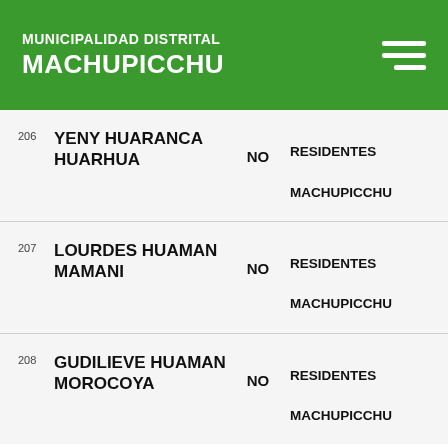MUNICIPALIDAD DISTRITAL MACHUPICCHU
| # | Nombre | Estado | Categoria |
| --- | --- | --- | --- |
| 206 | YENY HUARANCA HUARHUA | NO | RESIDENTES
MACHUPICCHU |
| 207 | LOURDES HUAMAN MAMANI | NO | RESIDENTES
MACHUPICCHU |
| 208 | GUDILIEVE HUAMAN MOROCOYA | NO | RESIDENTES
MACHUPICCHU |